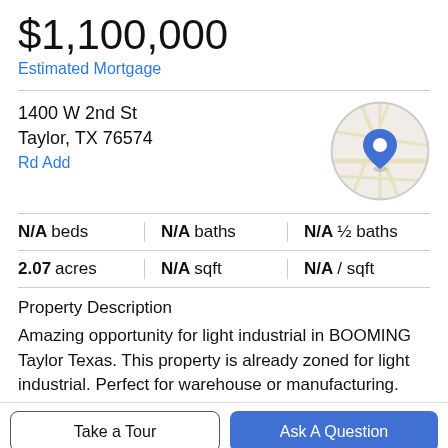$1,100,000
Estimated Mortgage
1400 W 2nd St
Taylor, TX 76574
Rd Add
[Figure (map): Circular map thumbnail showing location pin at 1400 W 2nd St, Taylor, TX 76574]
| N/A beds | N/A baths | N/A ½ baths |
| 2.07 acres | N/A sqft | N/A / sqft |
Property Description
Amazing opportunity for light industrial in BOOMING Taylor Texas. This property is already zoned for light industrial. Perfect for warehouse or manufacturing.
Take a Tour
Ask A Question